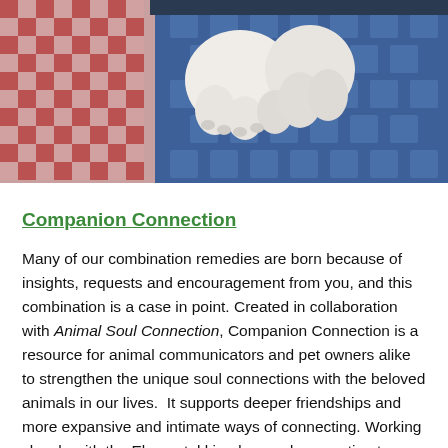[Figure (photo): Close-up photo of white animal paws/feet resting on a blue patterned fabric/quilt, with a red and beige checkered fabric visible on the left side.]
Companion Connection
Many of our combination remedies are born because of insights, requests and encouragement from you, and this combination is a case in point. Created in collaboration with Animal Soul Connection, Companion Connection is a resource for animal communicators and pet owners alike to strengthen the unique soul connections with the beloved animals in our lives.  It supports deeper friendships and more expansive and intimate ways of connecting. Working closely with the Elemental kingdom and connecting to our intuition are key elements of this combination. This mix helps us to let go of personality-based ideas in favor of connecting to the wisdom